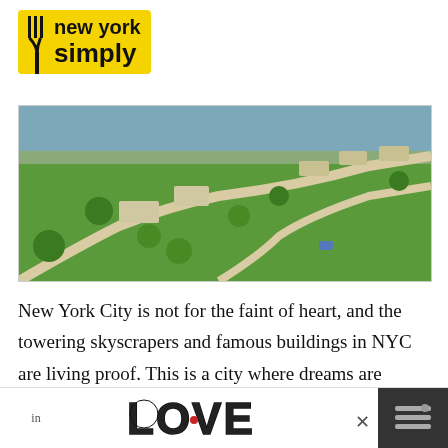[Figure (logo): New York Simply logo — yellow background with fork icon and bold black text reading 'new york simply']
[Figure (photo): Aerial view of a green park with winding paths, trees, small buildings, and a waterfront/river in the background]
New York City is not for the faint of heart, and the towering skyscrapers and famous buildings in NYC are living proof. This is a city where dreams are considered decrees,
[Figure (illustration): Advertisement banner showing decorative 'LOVE' text in ornate black-and-white style with a small red heart detail, with an X close button and a dark panel on the right]